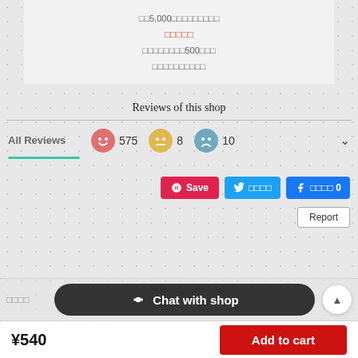□□5,000□□□□□□□□□
□□□□□
□□□□□□□□500□□□
□□□□□□□□□□
Reviews of this shop
All Reviews   😊 575   😐 8   😞 10
Save  ツイート  シェア 0
Report
□□□□
Chat with shop
¥540
Add to cart